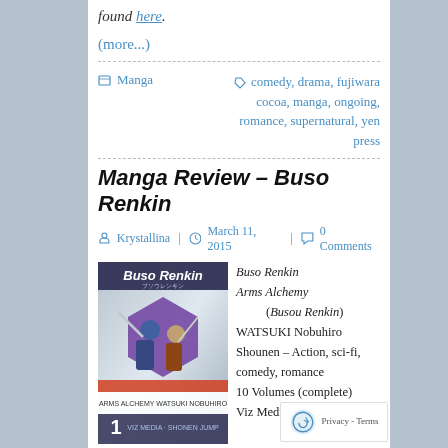found here.
(more...)
Manga  |  comedy, drama, fujiwara cocoa, manga, ongoing, romance, supernatural, yen press
Manga Review – Buso Renkin
Krystallina  |  March 11, 2015  |  0 Comments
[Figure (illustration): Book cover of Buso Renkin volume 1, showing two anime characters with swords on a grey/blue hexagonal background with the title Buso Renkin at top.]
Buso Renkin Arms Alchemy (Busou Renkin) WATSUKI Nobuhiro Shounen – Action, sci-fi, comedy, romance 10 Volumes (complete) Viz Media